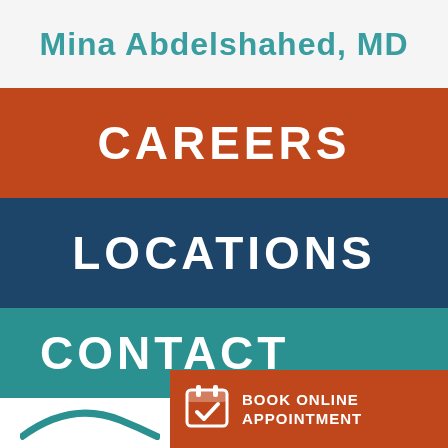Mina Abdelshahed, MD
CAREERS
LOCATIONS
CONTACT
BOOK ONLINE APPOINTMENT